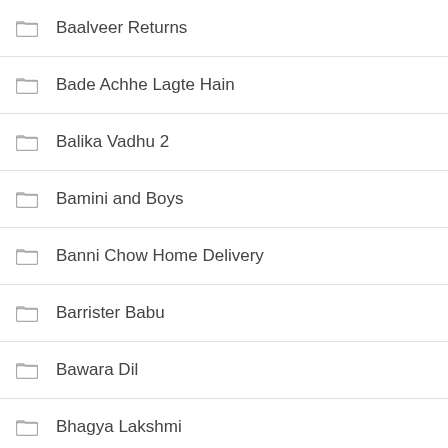Baalveer Returns
Bade Achhe Lagte Hain
Balika Vadhu 2
Bamini and Boys
Banni Chow Home Delivery
Barrister Babu
Bawara Dil
Bhagya Lakshmi
Bhopal to Vegas
Bigg Boss 15
Bigg Boss Kannada 8
Bigg Boss Marathi 3
Bolo Amba Maa Ki Jai
Cha...
Chik...